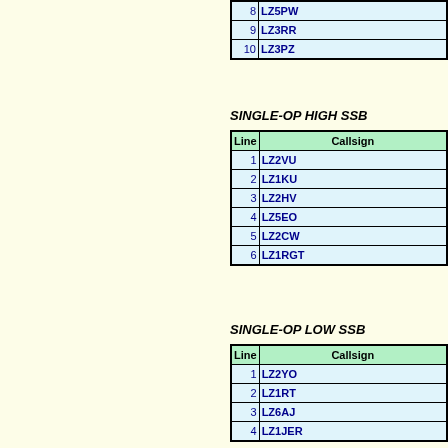| Line | Callsign |
| --- | --- |
| 8 | LZ5PW |
| 9 | LZ3RR |
| 10 | LZ3PZ |
SINGLE-OP HIGH SSB
| Line | Callsign |
| --- | --- |
| 1 | LZ2VU |
| 2 | LZ1KU |
| 3 | LZ2HV |
| 4 | LZ5EO |
| 5 | LZ2CW |
| 6 | LZ1RGT |
SINGLE-OP LOW SSB
| Line | Callsign |
| --- | --- |
| 1 | LZ2YO |
| 2 | LZ1RT |
| 3 | LZ6AJ |
| 4 | LZ1JER |